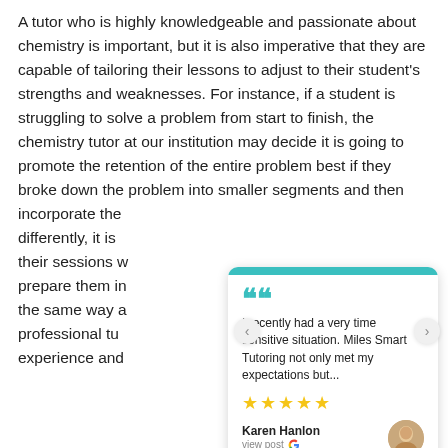A tutor who is highly knowledgeable and passionate about chemistry is important, but it is also imperative that they are capable of tailoring their lessons to adjust to their student's strengths and weaknesses. For instance, if a student is struggling to solve a problem from start to finish, the chemistry tutor at our institution may decide it is going to promote the retention of the entire problem best if they broke down the problem into smaller segments and then incorporate the differently, it is their sessions w prepare them in the same way a professional tu experience and so
[Figure (other): Google review card with teal top bar, opening quote icon, review text 'I recently had a very time sensitive situation. Miles Smart Tutoring not only met my expectations but...', five gold stars, reviewer name Karen Hanlon, view post link with Google G logo, and reviewer avatar photo. Navigation arrows on left and right sides.]